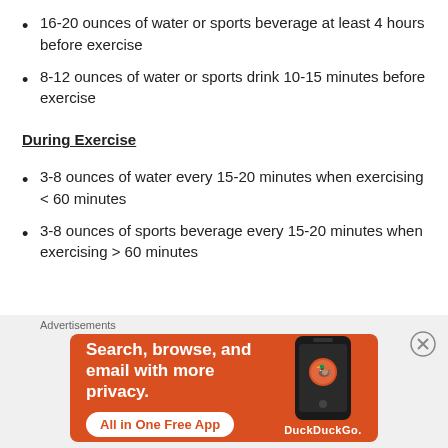16-20 ounces of water or sports beverage at least 4 hours before exercise
8-12 ounces of water or sports drink 10-15 minutes before exercise
During Exercise
3-8 ounces of water every 15-20 minutes when exercising < 60 minutes
3-8 ounces of sports beverage every 15-20 minutes when exercising > 60 minutes
[Figure (screenshot): DuckDuckGo advertisement banner: Search, browse, and email with more privacy. All in One Free App. Shows phone with DuckDuckGo logo.]